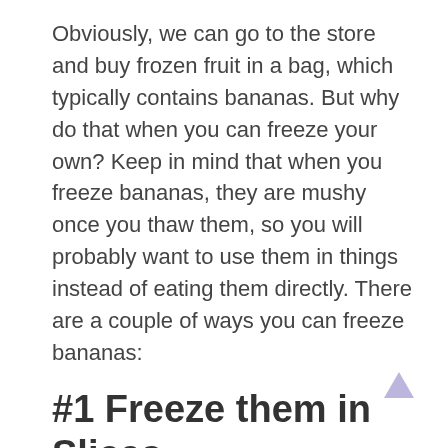Obviously, we can go to the store and buy frozen fruit in a bag, which typically contains bananas. But why do that when you can freeze your own? Keep in mind that when you freeze bananas, they are mushy once you thaw them, so you will probably want to use them in things instead of eating them directly. There are a couple of ways you can freeze bananas:
#1 Freeze them in Slices
Sliced bananas are great for throwing in your morning smoothie or making ice cream!
Here's how to freeze sliced bananas:
1. Peel the bananas first. Then slice them